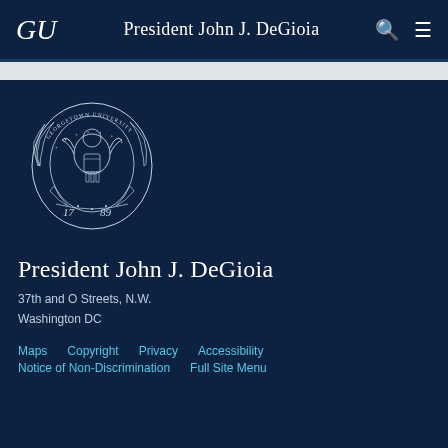GU   President John J. DeGioia
[Figure (logo): Georgetown University seal with eagle, shield, and laurel wreath, dated 1789]
President John J. DeGioia
37th and O Streets, N.W.
Washington DC
Maps   Copyright   Privacy   Accessibility
Notice of Non-Discrimination   Full Site Menu